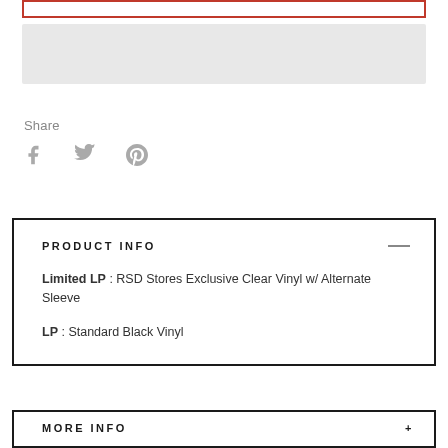[Figure (other): Red-bordered input field (top of page, partially cropped)]
[Figure (other): Gray placeholder/loading bar element]
Share
[Figure (other): Social share icons: Facebook (f), Twitter (bird), Pinterest (p)]
PRODUCT INFO
Limited LP : RSD Stores Exclusive Clear Vinyl w/ Alternate Sleeve
LP : Standard Black Vinyl
MORE INFO